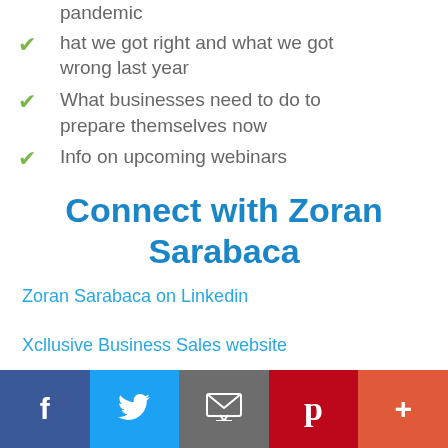pandemic
hat we got right and what we got wrong last year
What businesses need to do to prepare themselves now
Info on upcoming webinars
Connect with Zoran Sarabaca
Zoran Sarabaca on Linkedin
Xcllusive Business Sales website